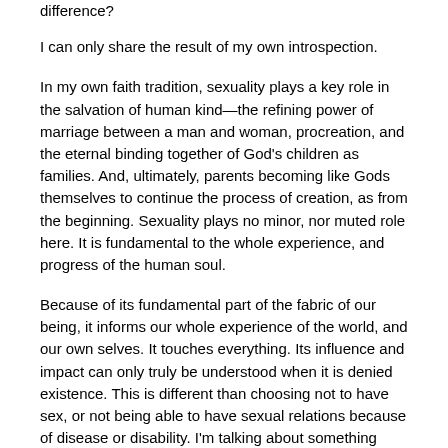difference?
I can only share the result of my own introspection.
In my own faith tradition, sexuality plays a key role in the salvation of human kind—the refining power of marriage between a man and woman, procreation, and the eternal binding together of God's children as families. And, ultimately, parents becoming like Gods themselves to continue the process of creation, as from the beginning. Sexuality plays no minor, nor muted role here. It is fundamental to the whole experience, and progress of the human soul.
Because of its fundamental part of the fabric of our being, it informs our whole experience of the world, and our own selves. It touches everything. Its influence and impact can only truly be understood when it is denied existence. This is different than choosing not to have sex, or not being able to have sexual relations because of disease or disability. I'm talking about something deeper than sex. I'm talking about the make-up of the self.